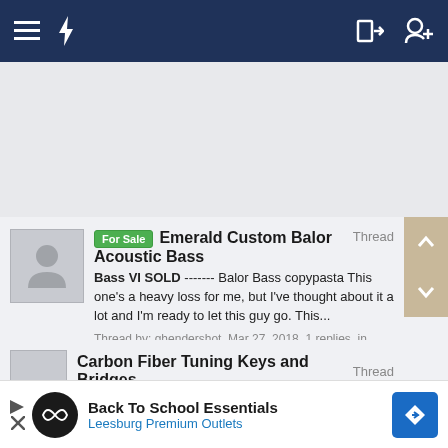Navigation bar with menu, lightning bolt icon, login and add user icons
[Figure (screenshot): Advertisement placeholder space (gray background)]
For Sale  Emerald Custom Balor Acoustic Bass  Thread
Bass VI SOLD ------- Balor Bass copypasta This one's a heavy loss for me, but I've thought about it a lot and I'm ready to let this guy go. This...
Thread by: ghendershot, Mar 27, 2018, 1 replies, in forum: For Sale: Bass Guitars
Carbon Fiber Tuning Keys and Bridges  Thread
[Figure (screenshot): Back To School Essentials advertisement banner for Leesburg Premium Outlets]